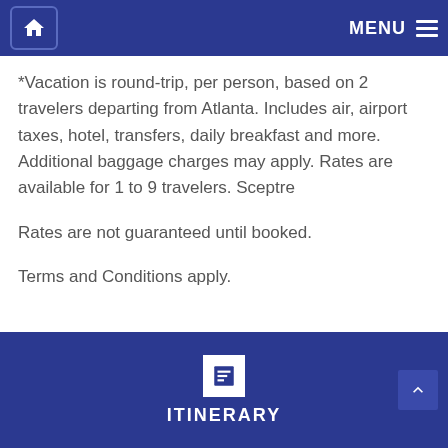MENU
*Vacation is round-trip, per person, based on 2 travelers departing from Atlanta. Includes air, airport taxes, hotel, transfers, daily breakfast and more. Additional baggage charges may apply. Rates are available for 1 to 9 travelers. Sceptre
Rates are not guaranteed until booked.
Terms and Conditions apply.
ITINERARY